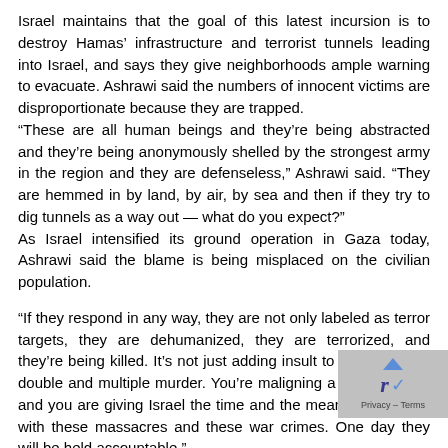Israel maintains that the goal of this latest incursion is to destroy Hamas' infrastructure and terrorist tunnels leading into Israel, and says they give neighborhoods ample warning to evacuate. Ashrawi said the numbers of innocent victims are disproportionate because they are trapped. “These are all human beings and they’re being abstracted and they’re being anonymously shelled by the strongest army in the region and they are defenseless,” Ashrawi said. “They are hemmed in by land, by air, by sea and then if they try to dig tunnels as a way out — what do you expect?” As Israel intensified its ground operation in Gaza today, Ashrawi said the blame is being misplaced on the civilian population.
“If they respond in any way, they are not only labeled as terror targets, they are dehumanized, they are terrorized, and they’re being killed. It’s not just adding insult to injury, it’s just double and multiple murder. You’re maligning a whole nation, and you are giving Israel the time and the means to continue with these massacres and these war crimes. One day they will be held accountable.”
When Macdonald asked Ashrawi if Palestinians plan to apply